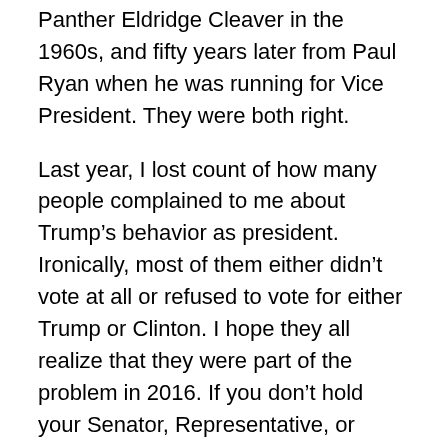Panther Eldridge Cleaver in the 1960s, and fifty years later from Paul Ryan when he was running for Vice President. They were both right.
Last year, I lost count of how many people complained to me about Trump's behavior as president. Ironically, most of them either didn't vote at all or refused to vote for either Trump or Clinton. I hope they all realize that they were part of the problem in 2016. If you don't hold your Senator, Representative, or Governor accountable for their actions or inactions on November 6th, you forfeit your right to bitch about the outcome. I certainly don't want to hear it.
This year thirty-four states and the District of Columbia allow “no-excuse” early voting, three states have “all mail-in voting,” and the rest permit absentee voting by mail. If you don’t vote you really have no excuse. If your state does…